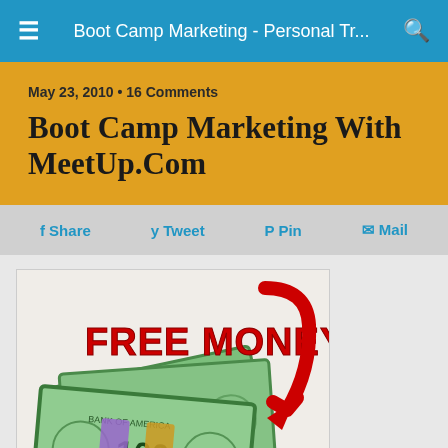Boot Camp Marketing - Personal Tr...
May 23, 2010 • 16 Comments
Boot Camp Marketing With MeetUp.Com
f Share   y Tweet   Pin   Mail
[Figure (photo): Bundles of cash bills with red text reading FREE MONEY and a large red arrow pointing down toward the money.]